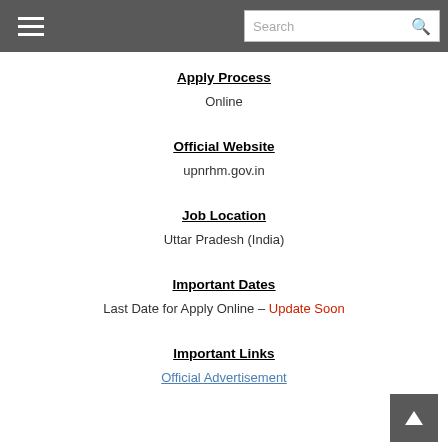Search
Apply Process
Online
Official Website
upnrhm.gov.in
Job Location
Uttar Pradesh (India)
Important Dates
Last Date for Apply Online – Update Soon
Important Links
Official Advertisement